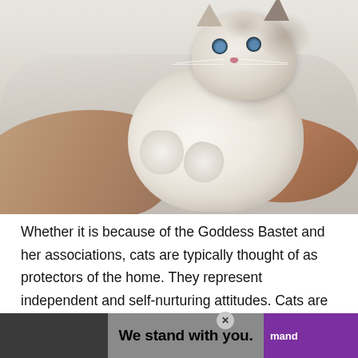[Figure (photo): A person in a light grey/cream sweater holding a fluffy white and grey kitten (Birman or Ragdoll breed) with blue eyes, against a light background.]
Whether it is because of the Goddess Bastet and her associations, cats are typically thought of as protectors of the home. They represent independent and self-nurturing attitudes. Cats are considered the best of the familiars bec[ause of their dom]ain and
[Figure (other): Advertisement banner overlay at bottom of page: dark grey left section, grey center with bold text 'We stand with you.', purple right section with white text, and a close (X) button.]